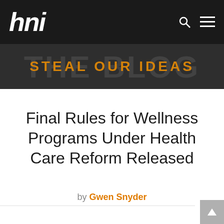hni
[Figure (other): HNI blog banner with 'STEAL OUR IDEAS' text over dark textured background with 'THE BLOG' watermark]
Final Rules for Wellness Programs Under Health Care Reform Released
by Gwen Snyder